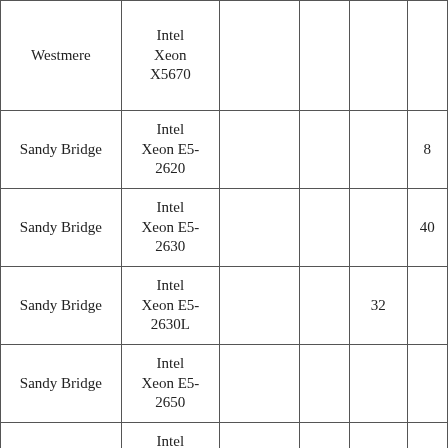| Westmere | Intel Xeon X5670 |  |  |  |  |
| Sandy Bridge | Intel Xeon E5-2620 |  |  |  | 8 |
| Sandy Bridge | Intel Xeon E5-2630 |  |  |  | 40 |
| Sandy Bridge | Intel Xeon E5-2630L |  |  | 32 |  |
| Sandy Bridge | Intel Xeon E5-2650 |  |  |  |  |
| Sandy Bridge | Intel Xeon E5-2660 |  |  |  |  |
| Sandy Bridge | Intel Xeon E5-2660 v2 |  |  |  |  |
| Haswell | Intel Xeon E5- |  |  |  |  |